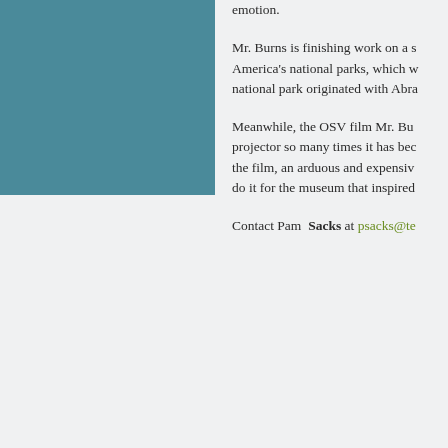[Figure (illustration): Teal/blue-green rectangular image placeholder in the upper left area of the page]
emotion.
Mr. Burns is finishing work on a s... America's national parks, which w... national park originated with Abra...
Meanwhile, the OSV film Mr. Bu... projector so many times it has bec... the film, an arduous and expensiv... do it for the museum that inspired...
Contact Pam Sacks at psacks@te...